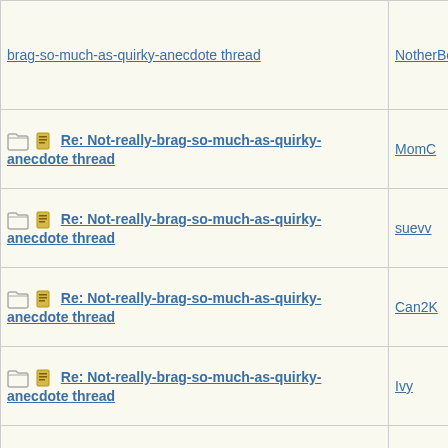| Subject | Author |
| --- | --- |
| brag-so-much-as-quirky-anecdote thread | NotherBe |
| Re: Not-really-brag-so-much-as-quirky-anecdote thread | MomC |
| Re: Not-really-brag-so-much-as-quirky-anecdote thread | suevv |
| Re: Not-really-brag-so-much-as-quirky-anecdote thread | Can2K |
| Re: Not-really-brag-so-much-as-quirky-anecdote thread | Ivy |
| Re: Not-really-brag-so-much-as-quirky-anecdote thread | Mana |
| Re: Not-really-brag-so-much-as-quirky-anecdote thread | Connecti |